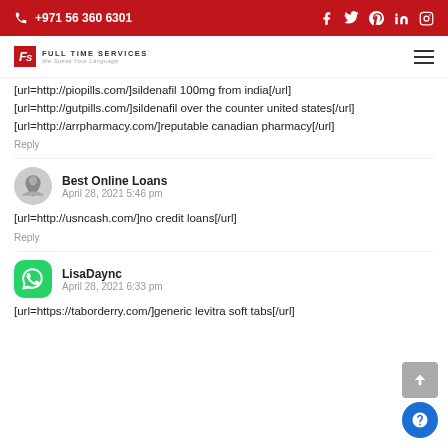+971 56 360 6301
[Figure (logo): Full Time Services logo with red background and tagline 'We Speak Your Language']
[url=http://piopills.com/]sildenafil 100mg from india[/url] [url=http://gutpills.com/]sildenafil over the counter united states[/url] [url=http://arrpharmacy.com/]reputable canadian pharmacy[/url]
Reply
Best Online Loans
April 28, 2021 5:46 pm
[url=http://usncash.com/]no credit loans[/url]
Reply
LisaDaync
April 28, 2021 6:33 pm
[url=https://taborderry.com/]generic levitra soft tabs[/url]